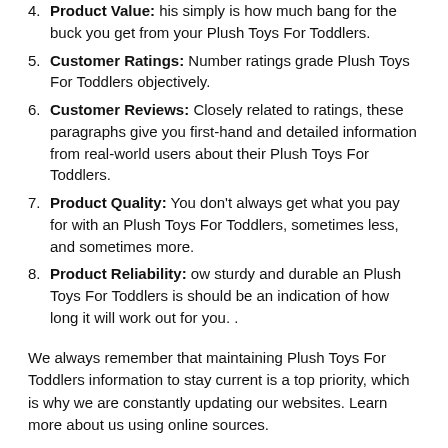4. Product Value: his simply is how much bang for the buck you get from your Plush Toys For Toddlers.
5. Customer Ratings: Number ratings grade Plush Toys For Toddlers objectively.
6. Customer Reviews: Closely related to ratings, these paragraphs give you first-hand and detailed information from real-world users about their Plush Toys For Toddlers.
7. Product Quality: You don't always get what you pay for with an Plush Toys For Toddlers, sometimes less, and sometimes more.
8. Product Reliability: ow sturdy and durable an Plush Toys For Toddlers is should be an indication of how long it will work out for you. .
We always remember that maintaining Plush Toys For Toddlers information to stay current is a top priority, which is why we are constantly updating our websites. Learn more about us using online sources.